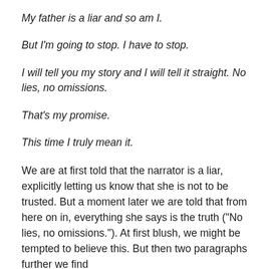My father is a liar and so am I.
But I'm going to stop. I have to stop.
I will tell you my story and I will tell it straight. No lies, no omissions.
That's my promise.
This time I truly mean it.
We are at first told that the narrator is a liar, explicitly letting us know that she is not to be trusted. But a moment later we are told that from here on in, everything she says is the truth (“No lies, no omissions.”). At first blush, we might be tempted to believe this. But then two paragraphs further we find